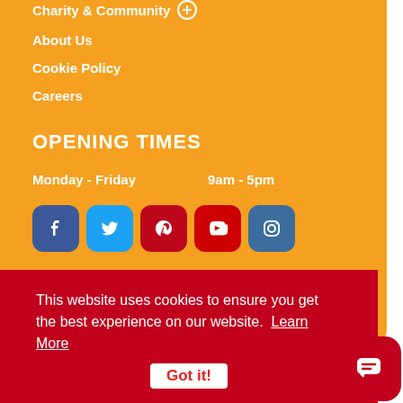Charity & Community
About Us
Cookie Policy
Careers
OPENING TIMES
Monday - Friday    9am - 5pm
[Figure (infographic): Row of 5 social media icons: Facebook, Twitter, Pinterest, YouTube, Instagram]
This website uses cookies to ensure you get the best experience on our website. Learn More
Got it!